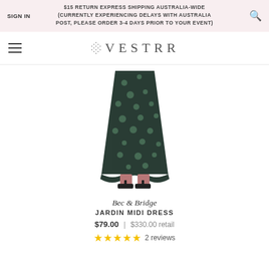SIGN IN | $15 RETURN EXPRESS SHIPPING AUSTRALIA-WIDE (CURRENTLY EXPERIENCING DELAYS WITH AUSTRALIA POST, PLEASE ORDER 3-4 DAYS PRIOR TO YOUR EVENT)
VESTRR
[Figure (photo): Lower body of a woman wearing a dark floral midi dress and black heeled sandals]
Bec & Bridge
JARDIN MIDI DRESS
$79.00  |  $330.00 retail
★★★★★ 2 reviews